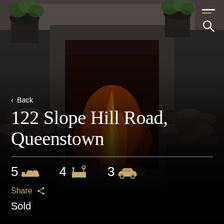[Figure (photo): Background photo of an outdoor stone fireplace with a roaring fire, flanked by stacked firewood, with potted plants visible. Dark, moody atmosphere.]
< Back
122 Slope Hill Road, Queenstown
5 [bed icon]  4 [bath icon]  3 [car icon]
Share
Sold